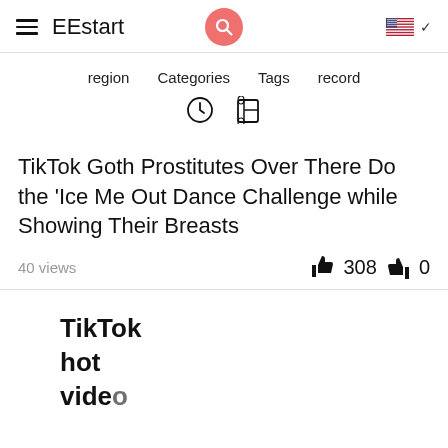EEstart
region   Categories   Tags   record
TikTok Goth Prostitutes Over There Do the 'Ice Me Out Dance Challenge while Showing Their Breasts
40 views   308   0
TikTok
hot
video